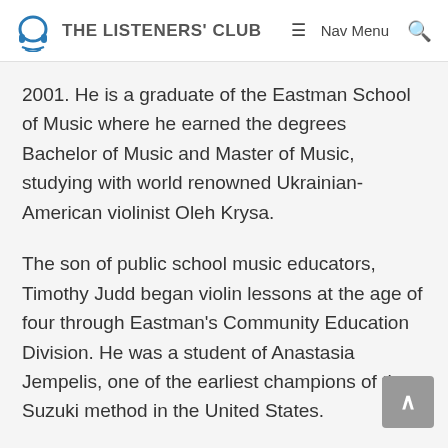THE LISTENERS' CLUB | Nav Menu
2001. He is a graduate of the Eastman School of Music where he earned the degrees Bachelor of Music and Master of Music, studying with world renowned Ukrainian-American violinist Oleh Krysa.
The son of public school music educators, Timothy Judd began violin lessons at the age of four through Eastman's Community Education Division. He was a student of Anastasia Jempelis, one of the earliest champions of the Suzuki method in the United States.